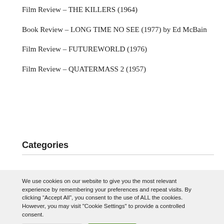Film Review – THE KILLERS (1964)
Book Review – LONG TIME NO SEE (1977) by Ed McBain
Film Review – FUTUREWORLD (1976)
Film Review – QUATERMASS 2 (1957)
Categories
We use cookies on our website to give you the most relevant experience by remembering your preferences and repeat visits. By clicking “Accept All”, you consent to the use of ALL the cookies. However, you may visit "Cookie Settings" to provide a controlled consent.